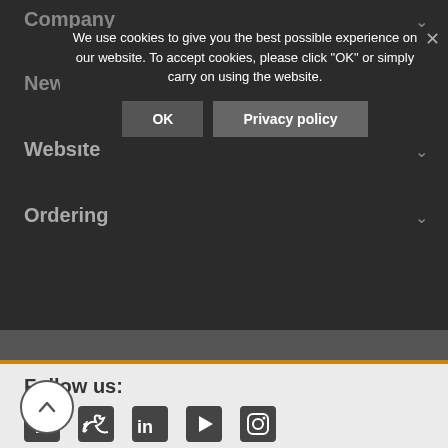We use cookies to give you the best possible experience on our website. To accept cookies, please click "OK" or simply carry on using the website.
OK | Privacy policy
Company
News
Website
Ordering
Follow us:
[Figure (infographic): Social media icons: Facebook, Twitter, LinkedIn, YouTube, Instagram]
Sign up for music education news and special offers
First Name
Last Name
Email Address